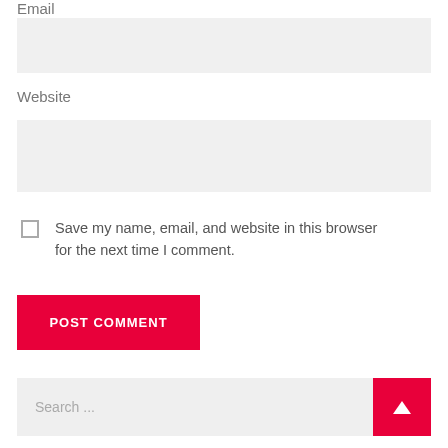Email
[Figure (screenshot): Email input field (empty, light gray background)]
Website
[Figure (screenshot): Website input field (empty, light gray background)]
Save my name, email, and website in this browser for the next time I comment.
POST COMMENT
Search ...